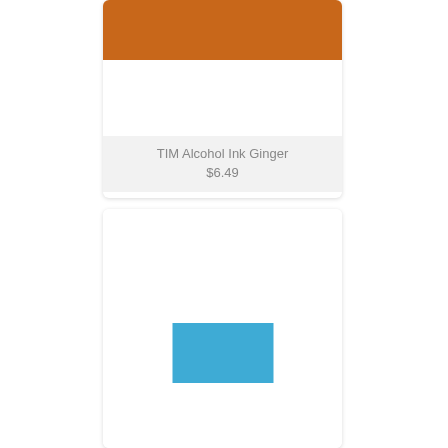[Figure (photo): Product card showing an orange/brown color swatch (TIM Alcohol Ink Ginger) with product name and price label below]
TIM Alcohol Ink Ginger
$6.49
[Figure (photo): Product card showing a blue color swatch rectangle centered on white background]